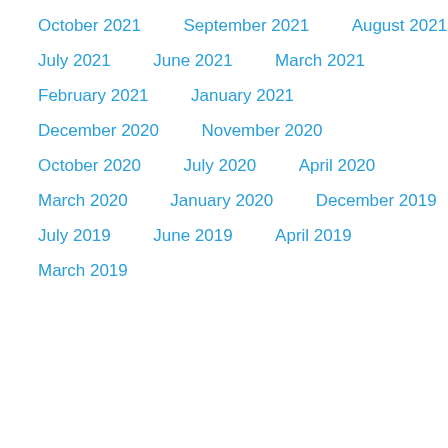October 2021
September 2021
August 2021
July 2021
June 2021
March 2021
February 2021
January 2021
December 2020
November 2020
October 2020
July 2020
April 2020
March 2020
January 2020
December 2019
July 2019
June 2019
April 2019
March 2019